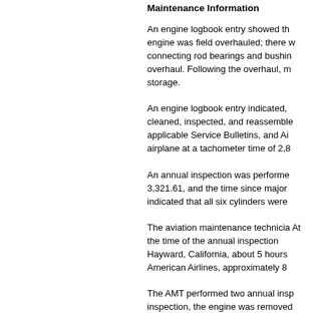Maintenance Information
An engine logbook entry showed that the engine was field overhauled; there were connecting rod bearings and bushings at overhaul. Following the overhaul, more storage.
An engine logbook entry indicated, cleaned, inspected, and reassembled applicable Service Bulletins, and Air airplane at a tachometer time of 2,8
An annual inspection was performed 3,321.61, and the time since major indicated that all six cylinders were
The aviation maintenance technicia At the time of the annual inspection Hayward, California, about 5 hours American Airlines, approximately 8
The AMT performed two annual insp inspection, the engine was removed exhaust and intake tubes were deta connecting rods were not removed. causing low compression. After the operated normally.
Wreckage and Impact Information